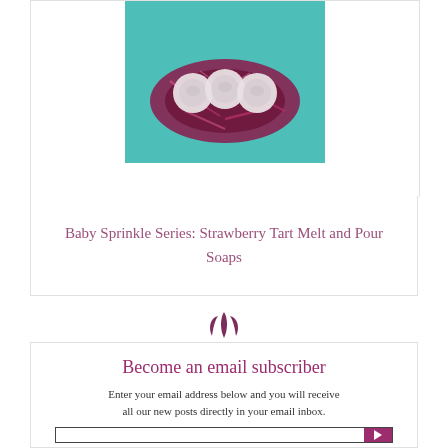[Figure (photo): Photo of three small round white soap bars nestled in pink/red shredded paper on a teal background]
Baby Sprinkle Series: Strawberry Tart Melt and Pour Soaps
[Figure (illustration): Purple leaf/plant decorative icon divider]
Become an email subscriber
Enter your email address below and you will receive all our new posts directly in your email inbox.